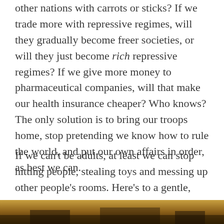other nations with carrots or sticks? If we trade more with repressive regimes, will they gradually become freer societies, or will they just become rich repressive regimes? If we give more money to pharmaceutical companies, will that make our health insurance cheaper? Who knows? The only solution is to bring our troops home, stop pretending we know how to rule the world, and put our own affairs in order, as best we can.
If we can't be adults, at least we can stop hitting people, stealing toys and messing up other people's rooms. Here's to a gentle, abundant, holy 2010.
[Figure (photo): A partial photograph visible at the bottom of the page, showing warm amber/brown tones suggesting an outdoor or natural scene.]